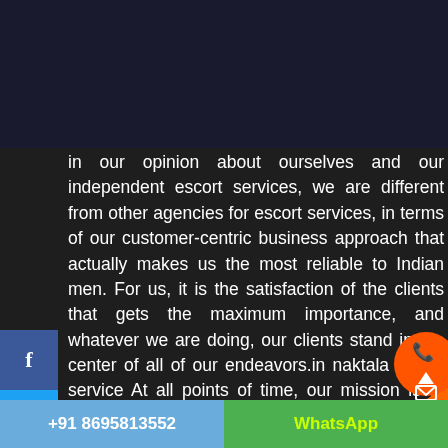[Figure (logo): Red lips logo with white teeth on dark navy header bar]
in our opinion about ourselves and our independent escort services, we are different from other agencies for escort services, in terms of our customer-centric business approach that actually makes us the most reliable to Indian men. For us, it is the satisfaction of the clients that gets the maximum importance, and whatever we are doing, our clients stand in the center of all of our endeavors.in naktala escort service At all points of time, our mission is to see our clients happy and completely satisfied with our services solutions. It gives us pleasure to state that we
+91 8695813552   WhatsApp